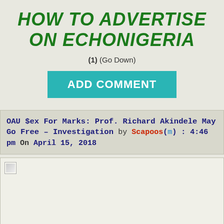HOW TO ADVERTISE ON ECHONIGERIA
(1) (Go Down)
ADD COMMENT
OAU $ex For Marks: Prof. Richard Akindele May Go Free – Investigation by Scapoos(m) : 4:46 pm On April 15, 2018
[Figure (photo): Broken image placeholder in a light beige content box]